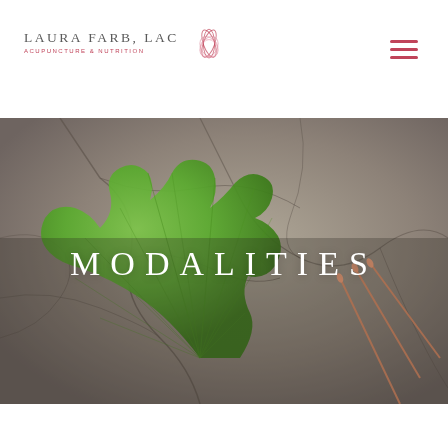[Figure (logo): Laura Farb LAc Acupuncture & Nutrition logo with lotus flower]
[Figure (photo): Background photo of a ginkgo leaf on cracked dry earth with acupuncture needles visible on the right side]
MODALITIES